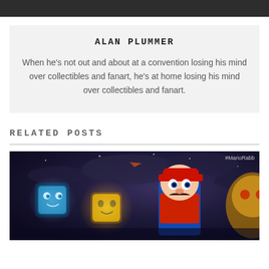ALAN PLUMMER
When he's not out and about at a convention losing his mind over collectibles and fanart, he's at home losing his mind over collectibles and fanart.
RELATED POSTS
[Figure (photo): Video game promotional image showing Mario and other characters against a dark stormy sky background, with a #MarioRabb watermark in the top-right corner]